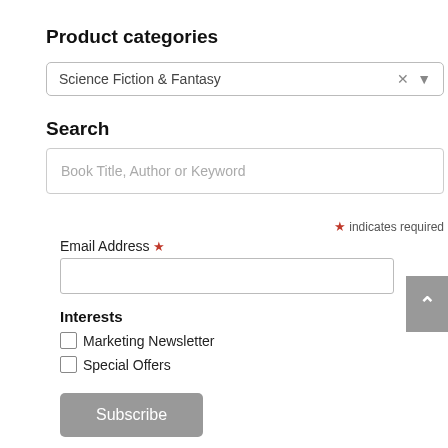Product categories
Science Fiction & Fantasy
Search
Book Title, Author or Keyword
* indicates required
Email Address *
Interests
Marketing Newsletter
Special Offers
Subscribe